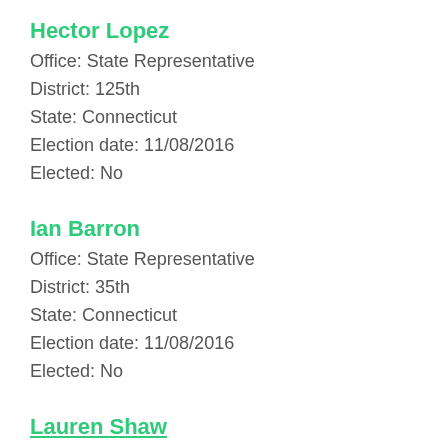Hector Lopez
Office: State Representative
District: 125th
State: Connecticut
Election date: 11/08/2016
Elected: No
Ian Barron
Office: State Representative
District: 35th
State: Connecticut
Election date: 11/08/2016
Elected: No
Lauren Shaw
Office: State Representative
District: 38
County: New London